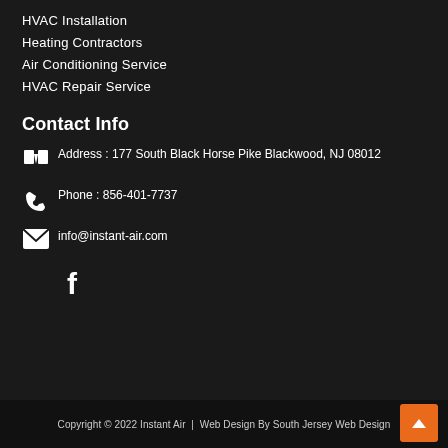HVAC Installation
Heating Contractors
Air Conditioning Service
HVAC Repair Service
Contact Info
Address : 177 South Black Horse Pike Blackwood, NJ 08012
Phone : 856-401-7737
info@instant-air.com
[Figure (logo): Facebook icon (f logo)]
Copyright © 2022 Instant Air  |  Web Design By South Jersey Web Design